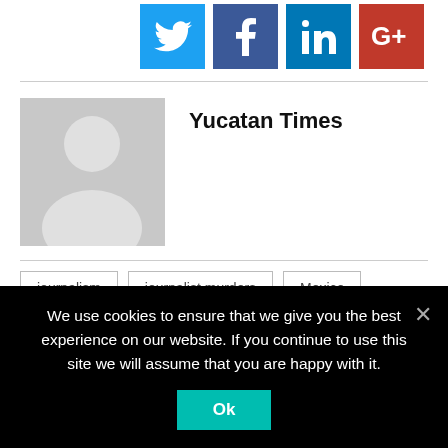[Figure (other): Social share buttons: Twitter (blue), Facebook (dark blue), LinkedIn (blue), Google+ (red)]
[Figure (photo): Author avatar placeholder — grey background with white silhouette of a person]
Yucatan Times
journalism
journalist murders
Mexico
More Recommended Stories
We use cookies to ensure that we give you the best experience on our website. If you continue to use this site we will assume that you are happy with it.
Ok